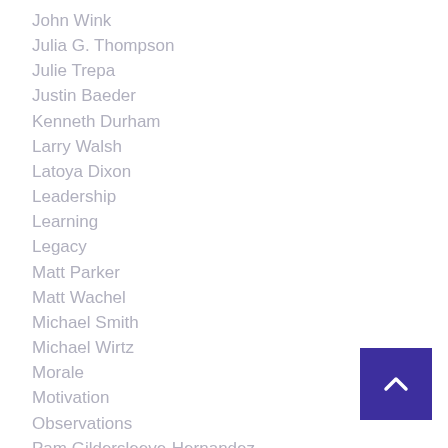John Wink
Julia G. Thompson
Julie Trepa
Justin Baeder
Kenneth Durham
Larry Walsh
Latoya Dixon
Leadership
Learning
Legacy
Matt Parker
Matt Wachel
Michael Smith
Michael Wirtz
Morale
Motivation
Observations
Pam Gildersleeve-Hernandez
PLN
Professional Development
Professional Growth
[Figure (other): Back to top button - purple square with white upward chevron arrow]